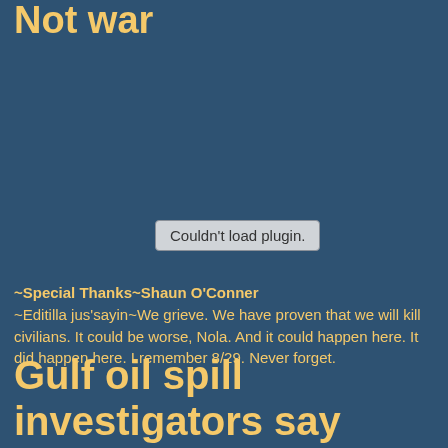Not war
[Figure (other): Media plugin placeholder box with text 'Couldn't load plugin.']
~Special Thanks~Shaun O'Conner
~Editilla jus'sayin~We grieve. We have proven that we will kill civilians. It could be worse, Nola. And it could happen here. It did happen here. I remember 8/29. Never forget.
Gulf oil spill investigators say bottom of sea at explosion site is a crime scene